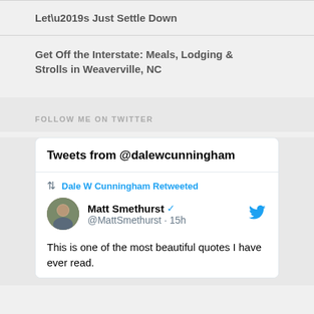Let’s Just Settle Down
Get Off the Interstate: Meals, Lodging & Strolls in Weaverville, NC
FOLLOW ME ON TWITTER
[Figure (screenshot): Twitter widget showing 'Tweets from @dalewcunningham'. A retweet by Dale W Cunningham of Matt Smethurst (@MattSmethurst) posted 15h ago. Tweet text: 'This is one of the most beautiful quotes I have ever read.']